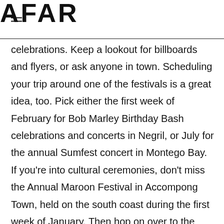AFAR
celebrations. Keep a lookout for billboards and flyers, or ask anyone in town. Scheduling your trip around one of the festivals is a great idea, too. Pick either the first week of February for Bob Marley Birthday Bash celebrations and concerts in Negril, or July for the annual Sumfest concert in Montego Bay. If you're into cultural ceremonies, don't miss the Annual Maroon Festival in Accompong Town, held on the south coast during the first week of January. Then hop on over to the annual Jamaica Jazz & Blues Festival held the second or third week of January.